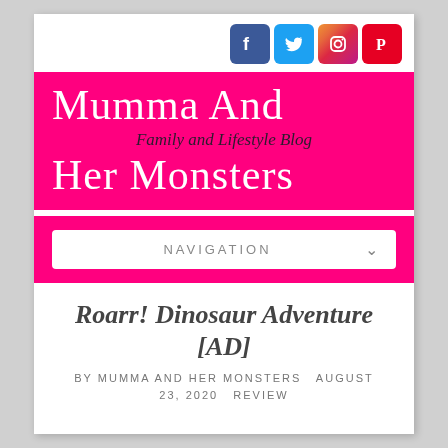[Figure (logo): Social media icons: Facebook (blue), Twitter (light blue), Instagram (gradient), Pinterest (red)]
Mumma And Her Monsters — Family and Lifestyle Blog
NAVIGATION
Roarr! Dinosaur Adventure [AD]
BY MUMMA AND HER MONSTERS   AUGUST 23, 2020   REVIEW